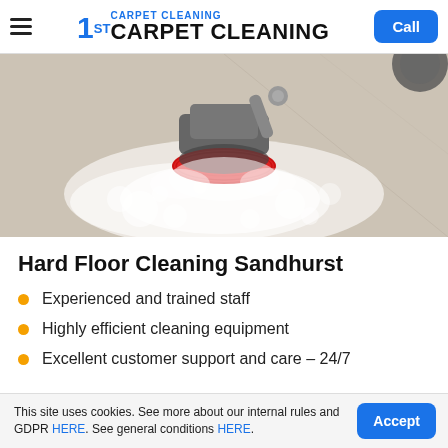1ST CARPET CLEANING — Call
[Figure (photo): Close-up photo of a floor cleaning machine with a red rotating brush pad scrubbing a hard floor, creating white foam/suds.]
Hard Floor Cleaning Sandhurst
Experienced and trained staff
Highly efficient cleaning equipment
Excellent customer support and care – 24/7
This site uses cookies. See more about our internal rules and GDPR HERE. See general conditions HERE. Accept